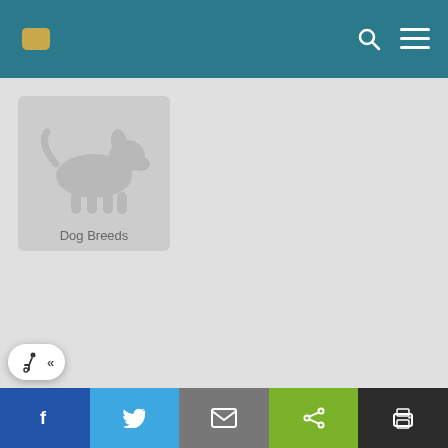Dog Breeds website header with logo, search, and menu icons
[Figure (illustration): Gray card with white dog silhouette icon representing Dog Breeds category]
Dog Breeds
FILTER BY TOPIC
View All
Alternative Therapies
Breeding
Behavior
Social share buttons: Facebook, Twitter, Mail, Share, Print